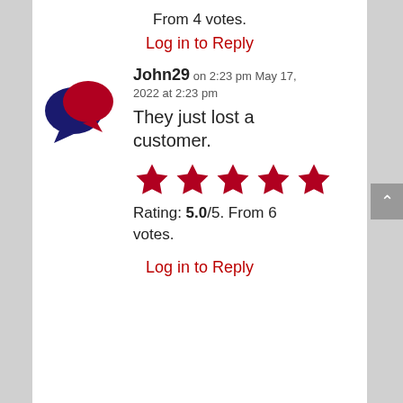From 4 votes.
Log in to Reply
[Figure (illustration): Two speech bubble icons overlapping — one dark navy blue and one dark red, representing a comments/review icon]
John29 on 2:23 pm May 17, 2022 at 2:23 pm
They just lost a customer.
[Figure (other): Five red star rating icons]
Rating: 5.0/5. From 6 votes.
Log in to Reply